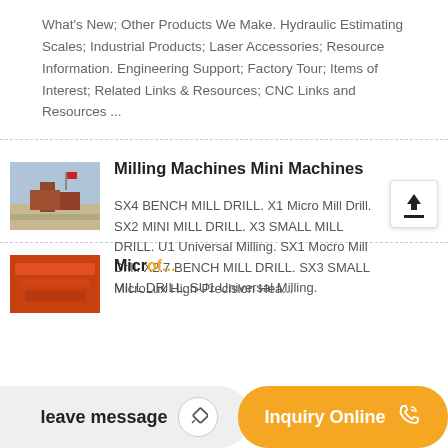What's New; Other Products We Make. Hydraulic Estimating Scales; Industrial Products; Laser Accessories; Resource Information. Engineering Support; Factory Tour; Items of Interest; Related Links & Resources; CNC Links and Resources ...
Milling Machines Mini Machines
SX4 BENCH MILL DRILL. X1 Micro Mill Drill. SX2 MINI MILL DRILL. X3 SMALL MILL DRILL. U1 Universal Milling. SX1 Mocro Mill Drill. X2.7 BENCH MILL DRILL. SX3 SMALL MILL DRILL. SU1 Universal Milling.
[Figure (photo): Thumbnail image of machinery/industrial scene with red equipment visible]
[Figure (photo): Partial thumbnail of orange/red industrial equipment at bottom of page]
leave message
Inquiry Online
MicroLux High-Precision Hea...